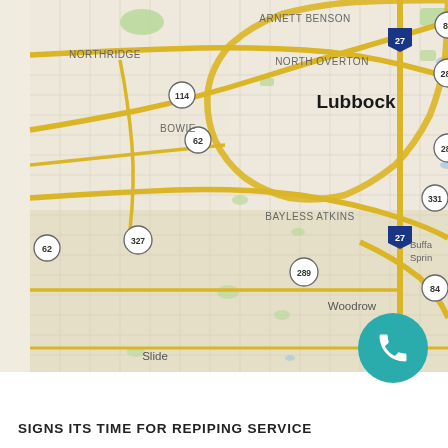[Figure (map): Google Maps screenshot showing Lubbock, Texas area with surrounding neighborhoods including Northridge, Arnett Benson, North Overton, Bowie, Bayless Atkins, Woodrow, Slide, and nearby Buffalo Springs and Posey. Major roads and highway numbers 27, 82, 289, 114, 62, 327, 331, 84, 87 are visible.]
SIGNS ITS TIME FOR REPIPING SERVICE